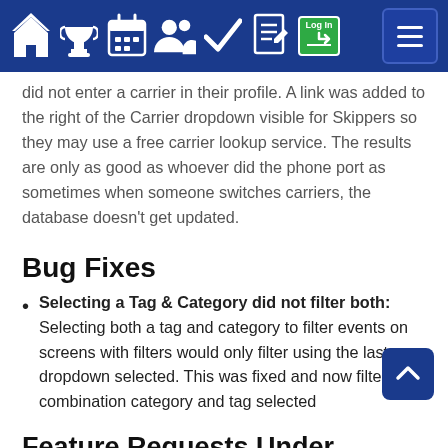[Navigation bar with home, trophy, calendar, users, checkmark, document, login, and menu icons]
did not enter a carrier in their profile. A link was added to the right of the Carrier dropdown visible for Skippers so they may use a free carrier lookup service. The results are only as good as whoever did the phone port as sometimes when someone switches carriers, the database doesn't get updated.
Bug Fixes
Selecting a Tag & Category did not filter both: Selecting both a tag and category to filter events on screens with filters would only filter using the last dropdown selected. This was fixed and now filters the combination category and tag selected
Feature Requests Under